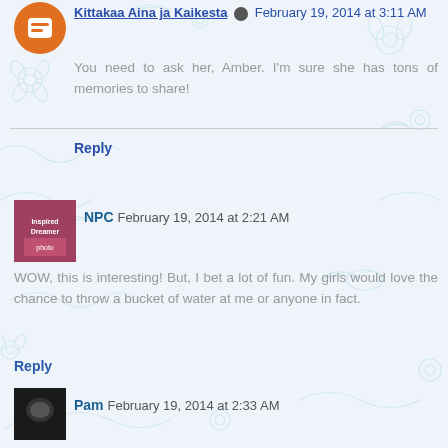Kittakaa Aina ja Kaikesta February 19, 2014 at 3:11 AM
You need to ask her, Amber. I'm sure she has tons of memories to share!
Reply
NPC February 19, 2014 at 2:21 AM
WOW, this is interesting! But, I bet a lot of fun. My girls would love the chance to throw a bucket of water at me or anyone in fact.
Reply
Pam February 19, 2014 at 2:33 AM
Wow, I had never heard of this custom. Not sure I would want to get soaked every time I went outside, but I would like to throw water at people. :)
Reply